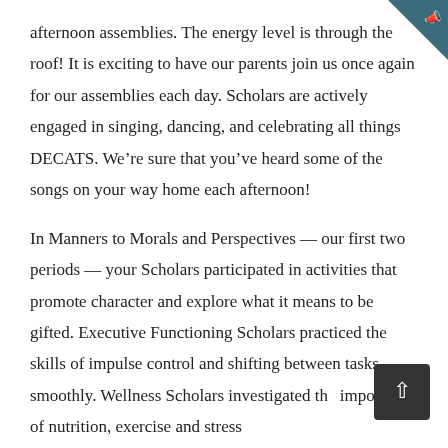afternoon assemblies. The energy level is through the roof! It is exciting to have our parents join us once again for our assemblies each day. Scholars are actively engaged in singing, dancing, and celebrating all things DECATS. We’re sure that you’ve heard some of the songs on your way home each afternoon! In Manners to Morals and Perspectives — our first two periods — your Scholars participated in activities that promote character and explore what it means to be gifted. Executive Functioning Scholars practiced the skills of impulse control and shifting between tasks smoothly. Wellness Scholars investigated the importance of nutrition, exercise and stress
[Figure (other): Dark teal triangular corner decoration in top-right corner with a megaphone/bullhorn icon]